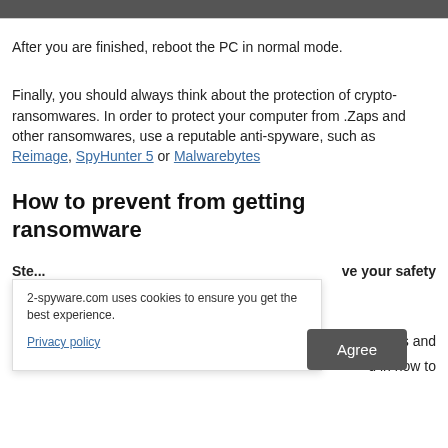After you are finished, reboot the PC in normal mode.
Finally, you should always think about the protection of crypto-ransomwares. In order to protect your computer from .Zaps and other ransomwares, use a reputable anti-spyware, such as Reimage, SpyHunter 5 or Malwarebytes
How to prevent from getting ransomware
Ste... ve your safety
2-spyware.com uses cookies to ensure you get the best experience.
Privacy policy
Agree
...years and ...d in how to